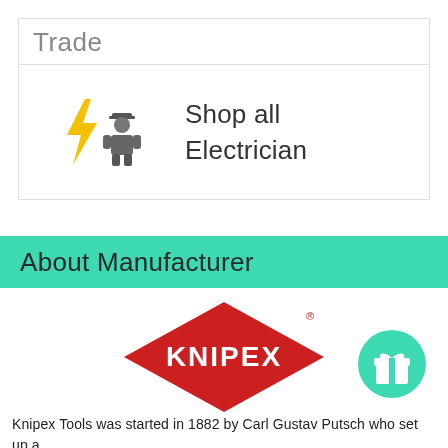Trade
[Figure (illustration): Yellow lightning bolt icon and grey electrician worker icon side by side]
Shop all Electrician
About Manufacturer
[Figure (logo): KNIPEX red diamond logo with registered trademark symbol]
[Figure (illustration): Teal/green circle with a gift/present icon inside]
Knipex Tools was started in 1882 by Carl Gustav Putsch who set up a